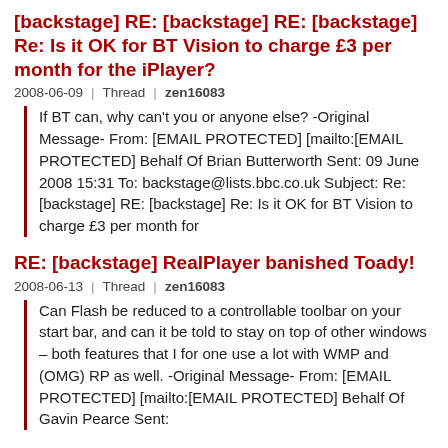[backstage] RE: [backstage] RE: [backstage] Re: Is it OK for BT Vision to charge £3 per month for the iPlayer?
2008-06-09 | Thread | zen16083
If BT can, why can't you or anyone else? -Original Message- From: [EMAIL PROTECTED] [mailto:[EMAIL PROTECTED] Behalf Of Brian Butterworth Sent: 09 June 2008 15:31 To: backstage@lists.bbc.co.uk Subject: Re: [backstage] RE: [backstage] Re: Is it OK for BT Vision to charge £3 per month for
RE: [backstage] RealPlayer banished Toady!
2008-06-13 | Thread | zen16083
Can Flash be reduced to a controllable toolbar on your start bar, and can it be told to stay on top of other windows – both features that I for one use a lot with WMP and (OMG) RP as well. -Original Message- From: [EMAIL PROTECTED] [mailto:[EMAIL PROTECTED] Behalf Of Gavin Pearce Sent:
RE: [backstage] RealPlayer banished Toady!
2008-06-13 | Thread | zen16083
Anything is possible, of course, but people want plain simple